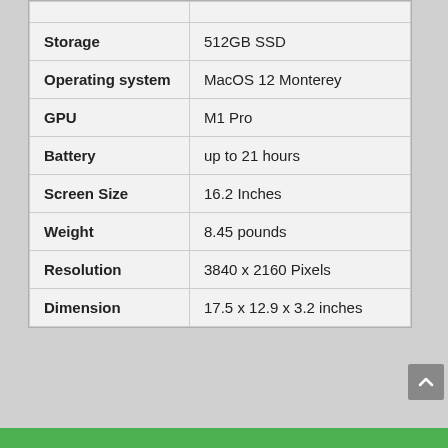| Specification | Value |
| --- | --- |
| Storage | 512GB SSD |
| Operating system | MacOS 12 Monterey |
| GPU | M1 Pro |
| Battery | up to 21 hours |
| Screen Size | 16.2 Inches |
| Weight | 8.45 pounds |
| Resolution | 3840 x 2160 Pixels |
| Dimension | 17.5 x 12.9 x 3.2 inches |